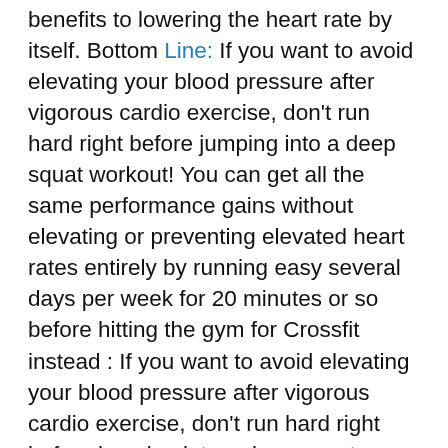benefits to lowering the heart rate by itself. Bottom Line: If you want to avoid elevating your blood pressure after vigorous cardio exercise, don't run hard right before jumping into a deep squat workout! You can get all the same performance gains without elevating or preventing elevated heart rates entirely by running easy several days per week for 20 minutes or so before hitting the gym for Crossfit instead : If you want to avoid elevating your blood pressure after vigorous cardio exercise, don't run hard right before jumping into a deep squat workout! You can get all the same performance gains without elevating or preventing elevated heart rates entirely by running easy several days per week for 20 minutes or so before hitting the gym forinstead Are Heart Rate